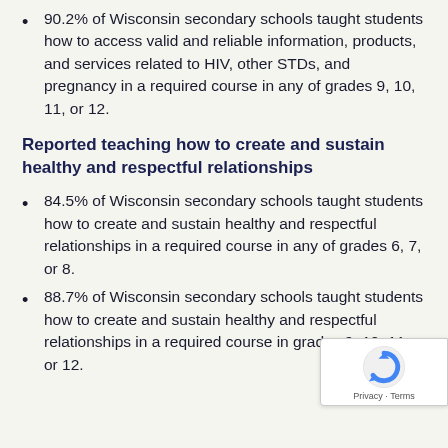90.2% of Wisconsin secondary schools taught students how to access valid and reliable information, products, and services related to HIV, other STDs, and pregnancy in a required course in any of grades 9, 10, 11, or 12.
Reported teaching how to create and sustain healthy and respectful relationships
84.5% of Wisconsin secondary schools taught students how to create and sustain healthy and respectful relationships in a required course in any of grades 6, 7, or 8.
88.7% of Wisconsin secondary schools taught students how to create and sustain healthy and respectful relationships in a required course in grades 9, 10, 11, or 12.